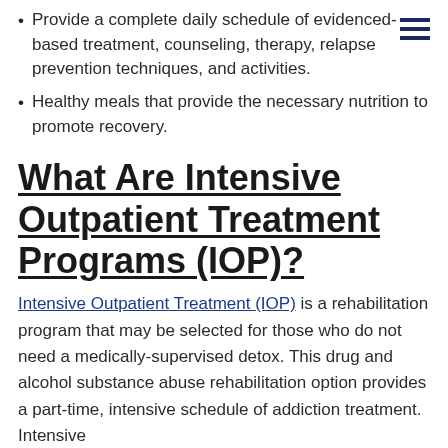Provide a complete daily schedule of evidenced-based treatment, counseling, therapy, relapse prevention techniques, and activities.
Healthy meals that provide the necessary nutrition to promote recovery.
What Are Intensive Outpatient Treatment Programs (IOP)?
Intensive Outpatient Treatment (IOP) is a rehabilitation program that may be selected for those who do not need a medically-supervised detox. This drug and alcohol substance abuse rehabilitation option provides a part-time, intensive schedule of addiction treatment. Intensive